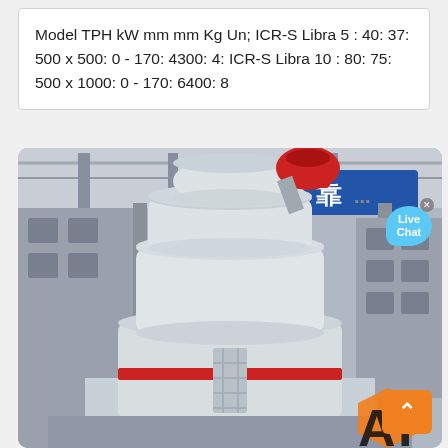Model TPH kW mm mm Kg Un; ICR-S Libra 5 : 40: 37: 500 x 500: 0 - 170: 4300: 4: ICR-S Libra 10 : 80: 75: 500 x 1000: 0 - 170: 6400: 8
[Figure (photo): Large white industrial vertical mill machine (likely a Raymond or ICR-S Libra grinding mill) photographed in a factory/warehouse setting. A red and white cylindrical body with a dome top, red accent stripe around mid-section, and red intake pipe at top. Chinese language signage visible in background along with factory structure. A 'Live Chat' bubble overlay visible in upper right, and a back-to-top button with orange background in lower right. A partial logo watermark visible at bottom right.]